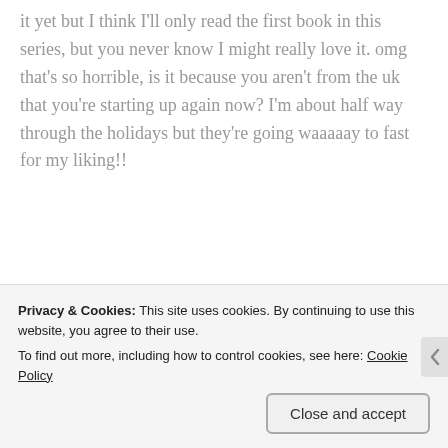it yet but I think I'll only read the first book in this series, but you never know I might really love it. omg that's so horrible, is it because you aren't from the uk that you're starting up again now? I'm about half way through the holidays but they're going waaaaay to fast for my liking!!
★ Like
Reply
Privacy & Cookies: This site uses cookies. By continuing to use this website, you agree to their use.
To find out more, including how to control cookies, see here: Cookie Policy
Close and accept